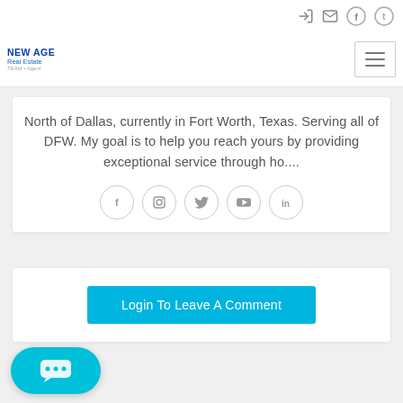New Age Real Estate — Navigation header with social/login icons
North of Dallas, currently in Fort Worth, Texas. Serving all of DFW. My goal is to help you reach yours by providing exceptional service through ho....
[Figure (infographic): Row of social media icon circles: Facebook, Instagram, Twitter, YouTube, LinkedIn]
[Figure (other): Login To Leave A Comment button (cyan)]
[Figure (other): Cyan chat bubble widget button at bottom left]